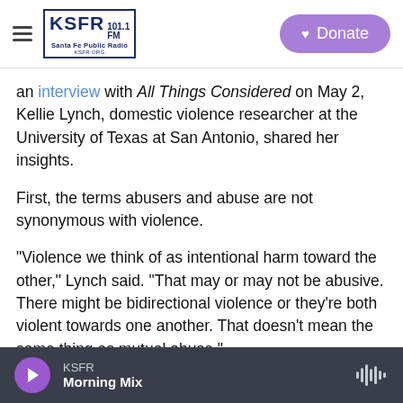KSFR 101.1 FM Santa Fe Public Radio | Donate
an interview with All Things Considered on May 2, Kellie Lynch, domestic violence researcher at the University of Texas at San Antonio, shared her insights.
First, the terms abusers and abuse are not synonymous with violence.
"Violence we think of as intentional harm toward the other," Lynch said. "That may or may not be abusive. There might be bidirectional violence or they're both violent towards one another. That doesn't mean the same thing as mutual abuse."
KSFR Morning Mix